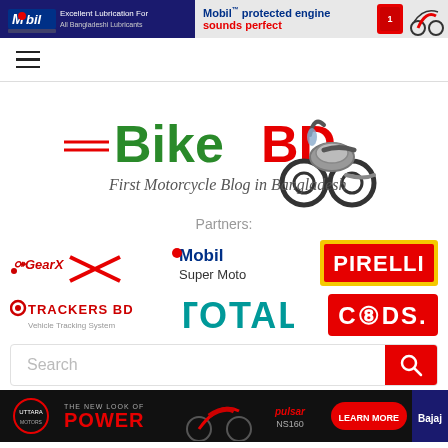[Figure (logo): Mobil banner ad: 'Mobil protected engine sounds perfect' with Mobil oil products and motorcycle on right]
[Figure (illustration): Hamburger menu icon (three horizontal lines)]
[Figure (logo): BikeBD logo - First Motorcycle Blog in Bangladesh, with motorcycle graphic]
Partners:
[Figure (logo): GearX logo]
[Figure (logo): Mobil Super Moto logo]
[Figure (logo): Pirelli logo - yellow and red]
[Figure (logo): Trackers BD - Vehicle Tracking System logo]
[Figure (logo): Total logo in teal]
[Figure (logo): CODS logo in red]
[Figure (screenshot): Search bar with red search button]
[Figure (logo): Bottom banner: Uttara - The New Look of Power, Pulsar NS160, Learn More, Bajaj]